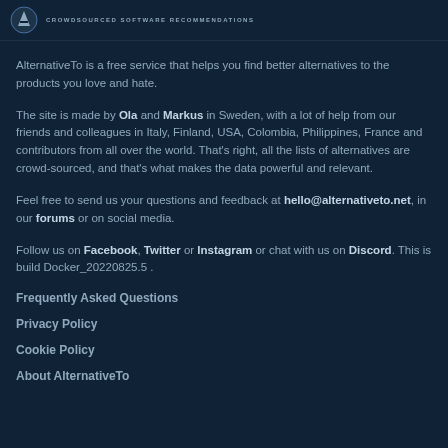CROWDSOURCED SOFTWARE RECOMMENDATIONS
AlternativeTo is a free service that helps you find better alternatives to the products you love and hate.
The site is made by Ola and Markus in Sweden, with a lot of help from our friends and colleagues in Italy, Finland, USA, Colombia, Philippines, France and contributors from all over the world. That's right, all the lists of alternatives are crowd-sourced, and that's what makes the data powerful and relevant.
Feel free to send us your questions and feedback at hello@alternativeto.net, in our forums or on social media.
Follow us on Facebook, Twitter or Instagram or chat with us on Discord. This is build Docker_20220825.5 .
Frequently Asked Questions
Privacy Policy
Cookie Policy
About AlternativeTo